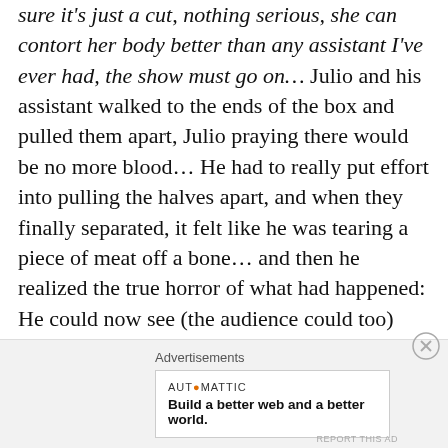sure it's just a cut, nothing serious, she can contort her body better than any assistant I've ever had, the show must go on… Julio and his assistant walked to the ends of the box and pulled them apart, Julio praying there would be no more blood… He had to really put effort into pulling the halves apart, and when they finally separated, it felt like he was tearing a piece of meat off a bone… and then he realized the true horror of what had happened: He could now see (the audience could too) that Julia's legs had been separated just above the kneecaps. A woman screamed in the audience;
Advertisements
[Figure (other): Automattic advertisement banner: 'Build a better web and a better world.']